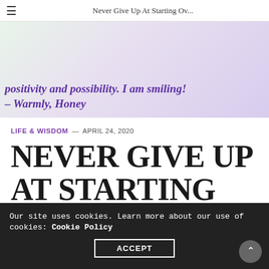Never Give Up At Starting Ov...
[Figure (photo): Banner image with purple/lavender tones and cursive text overlay: 'positivity and possibility. I am smiling! – Warmly, Honey']
LIFE & WISDOM — APRIL 24, 2020
NEVER GIVE UP AT STARTING OVER!
by HONEY GOOD CONTRIBUTOR
Our site uses cookies. Learn more about our use of cookies: Cookie Policy